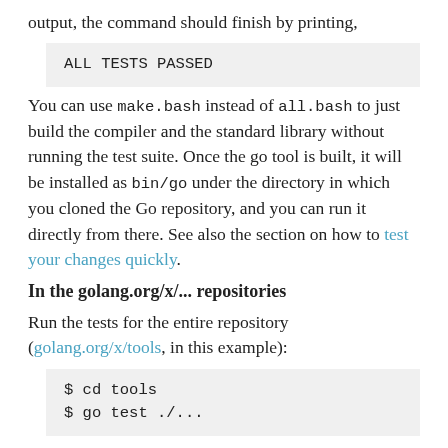output, the command should finish by printing,
ALL TESTS PASSED
You can use make.bash instead of all.bash to just build the compiler and the standard library without running the test suite. Once the go tool is built, it will be installed as bin/go under the directory in which you cloned the Go repository, and you can run it directly from there. See also the section on how to test your changes quickly.
In the golang.org/x/... repositories
Run the tests for the entire repository (golang.org/x/tools, in this example):
$ cd tools
$ go test ./...
If you're concerned about the build status, you can check the Build Dashboard. Test failures may also be